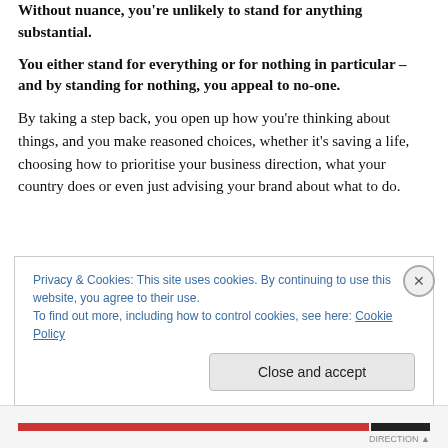Without nuance, you're unlikely to stand for anything substantial.
You either stand for everything or for nothing in particular – and by standing for nothing, you appeal to no-one.
By taking a step back, you open up how you're thinking about things, and you make reasoned choices, whether it's saving a life, choosing how to prioritise your business direction, what your country does or even just advising your brand about what to do.
Privacy & Cookies: This site uses cookies. By continuing to use this website, you agree to their use.
To find out more, including how to control cookies, see here: Cookie Policy
Close and accept